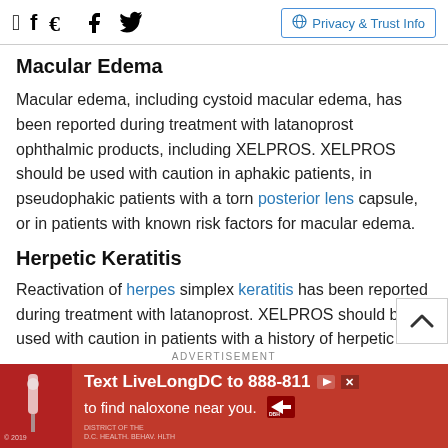Social icons (Facebook, Twitter) | Privacy & Trust Info
Macular Edema
Macular edema, including cystoid macular edema, has been reported during treatment with latanoprost ophthalmic products, including XELPROS. XELPROS should be used with caution in aphakic patients, in pseudophakic patients with a torn posterior lens capsule, or in patients with known risk factors for macular edema.
Herpetic Keratitis
Reactivation of herpes simplex keratitis has been reported during treatment with latanoprost. XELPROS should be used with caution in patients with a history of herpetic
ADVERTISEMENT
[Figure (other): Advertisement banner: Text LiveLongDC to 888-811 to find naloxone near you. Red background with hand holding syringe image and DBH logo.]